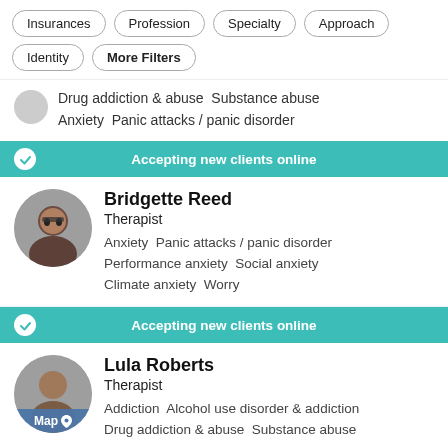Insurances
Profession
Specialty
Approach
Identity
More Filters
Drug addiction & abuse  Substance abuse  Anxiety  Panic attacks / panic disorder
Accepting new clients online
Bridgette Reed
Therapist
Anxiety  Panic attacks / panic disorder  Performance anxiety  Social anxiety  Climate anxiety  Worry
Accepting new clients online
Lula Roberts
Therapist
Addiction  Alcohol use disorder & addiction  Drug addiction & abuse  Substance abuse